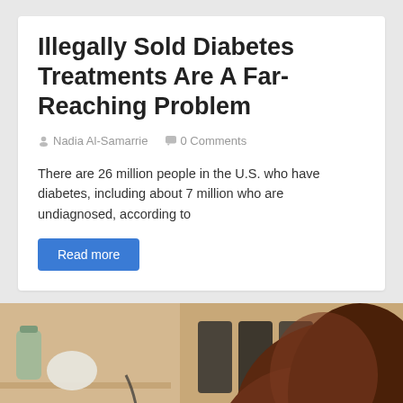Illegally Sold Diabetes Treatments Are A Far-Reaching Problem
Nadia Al-Samarrie  0 Comments
There are 26 million people in the U.S. who have diabetes, including about 7 million who are undiagnosed, according to
Read more
[Figure (photo): Blurred photo showing the back of a person's head with reddish-brown hair, against a background of shelves with items, in a bathroom or kitchen setting.]